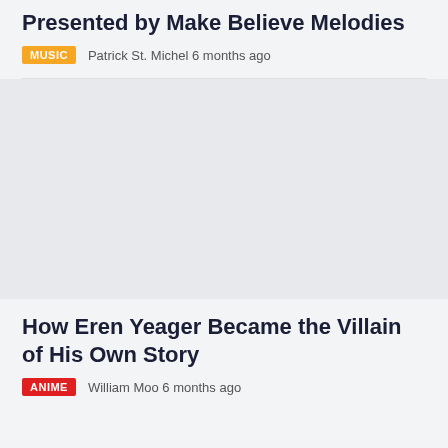Presented by Make Believe Melodies
MUSIC   Patrick St. Michel 6 months ago
[Figure (photo): Article thumbnail image placeholder (gray background)]
How Eren Yeager Became the Villain of His Own Story
ANIME   William Moo 6 months ago